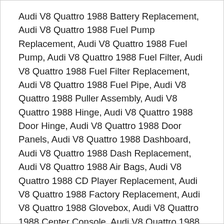Audi V8 Quattro 1988 Battery Replacement, Audi V8 Quattro 1988 Fuel Pump Replacement, Audi V8 Quattro 1988 Fuel Pump, Audi V8 Quattro 1988 Fuel Filter, Audi V8 Quattro 1988 Fuel Filter Replacement, Audi V8 Quattro 1988 Fuel Pipe, Audi V8 Quattro 1988 Puller Assembly, Audi V8 Quattro 1988 Hinge, Audi V8 Quattro 1988 Door Hinge, Audi V8 Quattro 1988 Door Panels, Audi V8 Quattro 1988 Dashboard, Audi V8 Quattro 1988 Dash Replacement, Audi V8 Quattro 1988 Air Bags, Audi V8 Quattro 1988 CD Player Replacement, Audi V8 Quattro 1988 Factory Replacement, Audi V8 Quattro 1988 Glovebox, Audi V8 Quattro 1988 Center Console, Audi V8 Quattro 1988 Console Replacement, Audi V8 Quattro 1988 Interior Lighting, Audi V8 Quattro 1988 Lights, Audi V8 Quattro 1988 HID, Audi V8 Quattro 1988 Projector, Audi V8 Quattro 1988 Headlight Replacement, Audi V8 Quattro 1988 Taillight Replacement, Audi V8 Quattro